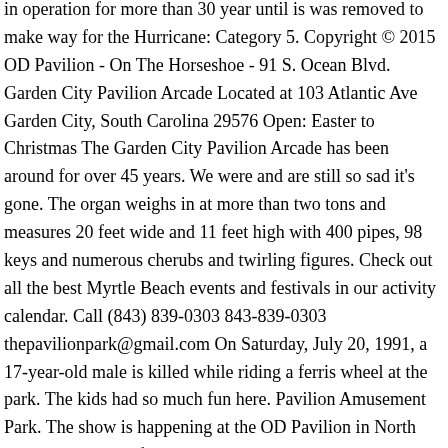in operation for more than 30 year until is was removed to make way for the Hurricane: Category 5. Copyright © 2015 OD Pavilion - On The Horseshoe - 91 S. Ocean Blvd. Garden City Pavilion Arcade Located at 103 Atlantic Ave Garden City, South Carolina 29576 Open: Easter to Christmas The Garden City Pavilion Arcade has been around for over 45 years. We were and are still so sad it's gone. The organ weighs in at more than two tons and measures 20 feet wide and 11 feet high with 400 pipes, 98 keys and numerous cherubs and twirling figures. Check out all the best Myrtle Beach events and festivals in our activity calendar. Call (843) 839-0303 843-839-0303 thepavilionpark@gmail.com On Saturday, July 20, 1991, a 17-year-old male is killed while riding a ferris wheel at the park. The kids had so much fun here. Pavilion Amusement Park. The show is happening at the OD Pavilion in North Myrtle Beach, SC from 1pm-4pm. Find the best Arcades on Yelp: search reviews of 18 Myrtle Beach businesses by price, type, or location. Located inside Broadway at the